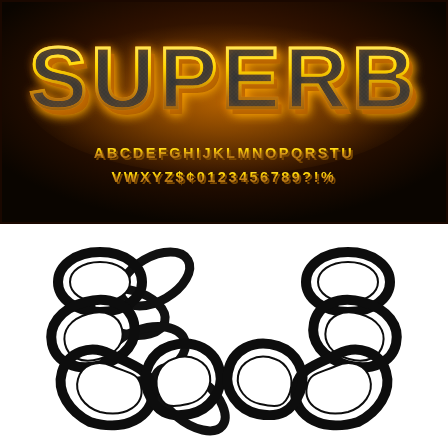[Figure (illustration): Gold 3D text effect showing 'SUPERB' in large ornate letters with a dark brown background and glow effect, below which is the full alphabet A-U on one line and VWXYZ$¢0123456789?!% on the second line, all in gold metallic style]
[Figure (illustration): Black and white outline illustration of two broken chain segments on white background, one on the left and one on the right, curving outward]